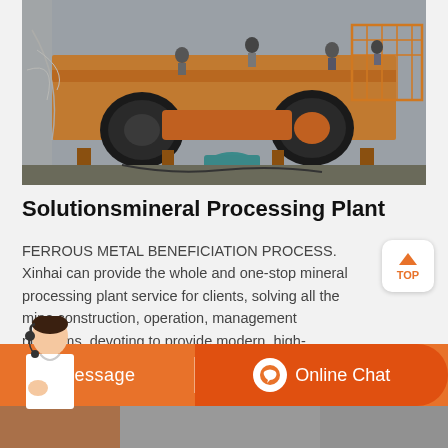[Figure (photo): Industrial mineral processing plant machinery — orange metal framework structure with large cylindrical rollers/drums on an elevated platform, workers visible on top, with cables and equipment below including a teal-colored motor.]
Solutionsmineral Processing Plant
FERROUS METAL BENEFICIATION PROCESS. Xinhai can provide the whole and one-stop mineral processing plant service for clients, solving all the mine construction, operation, management problems, devoting to provide modern, high-efficiency, and energy-saving mine roject construction and operation solution for clients away from worries.